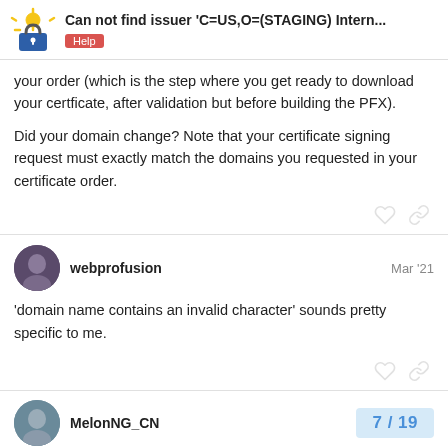Can not find issuer 'C=US,O=(STAGING) Intern... — Help
your order (which is the step where you get ready to download your certficate, after validation but before building the PFX).
Did your domain change? Note that your certificate signing request must exactly match the domains you requested in your certificate order.
webprofusion — Mar '21
'domain name contains an invalid character' sounds pretty specific to me.
MelonNG_CN
7 / 19